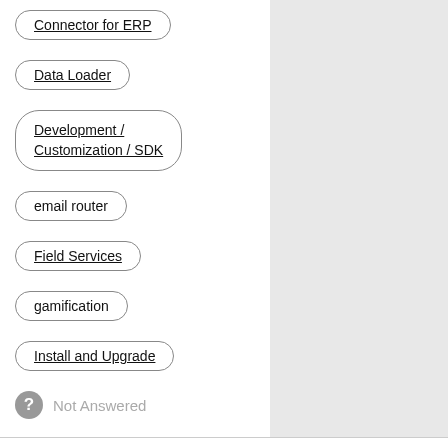Connector for ERP
Data Loader
Development / Customization / SDK
email router
Field Services
gamification
Install and Upgrade
Not Answered